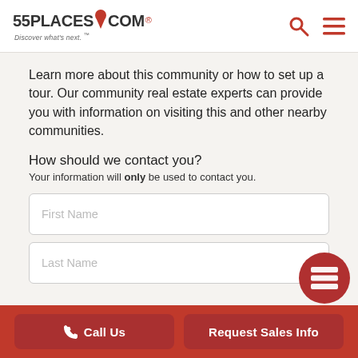55PLACES.COM Discover what's next.
Learn more about this community or how to set up a tour. Our community real estate experts can provide you with information on visiting this and other nearby communities.
How should we contact you?
Your information will only be used to contact you.
First Name
Last Name
Call Us | Request Sales Info